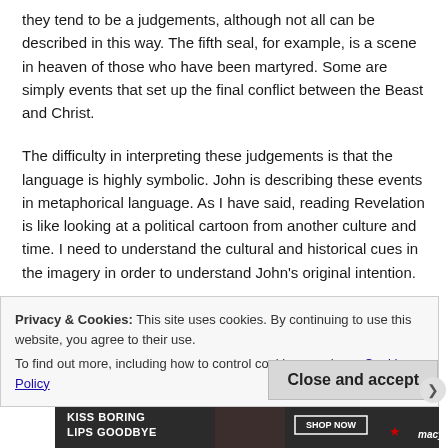they tend to be a judgements, although not all can be described in this way. The fifth seal, for example, is a scene in heaven of those who have been martyred. Some are simply events that set up the final conflict between the Beast and Christ.
The difficulty in interpreting these judgements is that the language is highly symbolic. John is describing these events in metaphorical language. As I have said, reading Revelation is like looking at a political cartoon from another culture and time. I need to understand the cultural and historical cues in the imagery in order to understand John’s original intention.
Privacy & Cookies: This site uses cookies. By continuing to use this website, you agree to their use.
To find out more, including how to control cookies, see here: Cookie Policy
Close and accept
Advertisements
[Figure (illustration): Advertisement banner: KISS BORING LIPS GOODBYE with SHOP NOW button and Macys logo with red star, dark background]